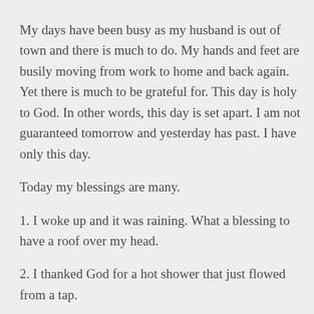My days have been busy as my husband is out of town and there is much to do. My hands and feet are busily moving from work to home and back again. Yet there is much to be grateful for. This day is holy to God. In other words, this day is set apart. I am not guaranteed tomorrow and yesterday has past. I have only this day.
Today my blessings are many.
1. I woke up and it was raining. What a blessing to have a roof over my head.
2. I thanked God for a hot shower that just flowed from a tap.
3. Yesterday when I went to Starbucks I was hungry